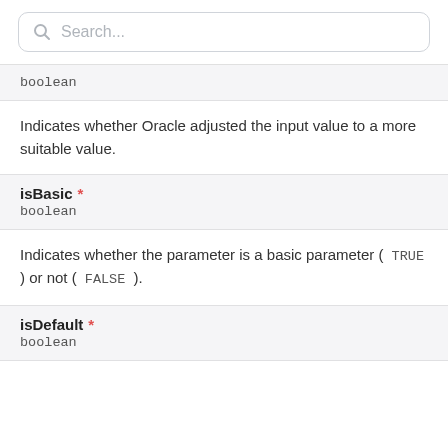Search...
boolean
Indicates whether Oracle adjusted the input value to a more suitable value.
isBasic * boolean
Indicates whether the parameter is a basic parameter ( TRUE ) or not ( FALSE ).
isDefault * boolean